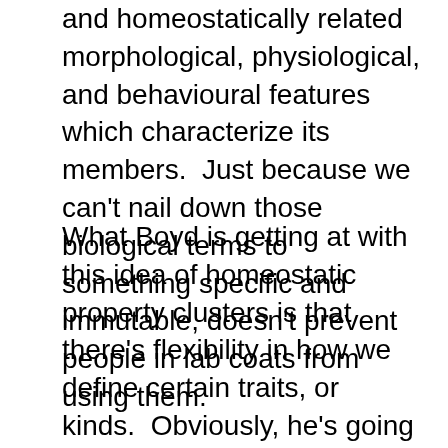and homeostatically related morphological, physiological, and behavioural features which characterize its members.  Just because we can't nail down those biological terms to something specific and immutable, doesn't prevent people in lab coats from using them.
What Boyd is getting at with this idea of homeostatic property clusters is that there's flexibility in how we define certain traits, or kinds.  Obviously, he's going to apply this idea to moral kinds, like 'good' and 'baaaaaaaaaad'.   For something to be good it can have varying degrees of a cluster of properties, it needn't be rigidly defined by definite amounts of each member of a set of properties.